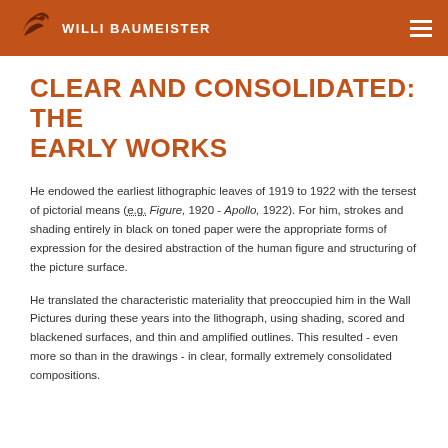WILLI BAUMEISTER
CLEAR AND CONSOLIDATED: THE EARLY WORKS
He endowed the earliest lithographic leaves of 1919 to 1922 with the tersest of pictorial means (e.g. Figure, 1920 - Apollo, 1922). For him, strokes and shading entirely in black on toned paper were the appropriate forms of expression for the desired abstraction of the human figure and structuring of the picture surface.
He translated the characteristic materiality that preoccupied him in the Wall Pictures during these years into the lithograph, using shading, scored and blackened surfaces, and thin and amplified outlines. This resulted - even more so than in the drawings - in clear, formally extremely consolidated compositions.